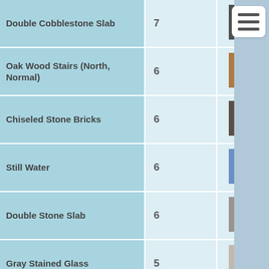| Name | Count | Color |
| --- | --- | --- |
| Double Cobblestone Slab | 7 | dark gray |
| Oak Wood Stairs (North, Normal) | 6 | brown |
| Chiseled Stone Bricks | 6 | dark brown-gray |
| Still Water | 6 | steel blue |
| Double Stone Slab | 6 | gray |
| Gray Stained Glass | 5 | light gray-tan |
| Oak Leaves (No Decay and Check Decay) | 5 | green |
| Lily Pad | 5 | dark green |
| Wooden Trapdoor (East from block, Open, Bottom half) | 5 | brown |
| Wooden Trapdoor | 5 |  |